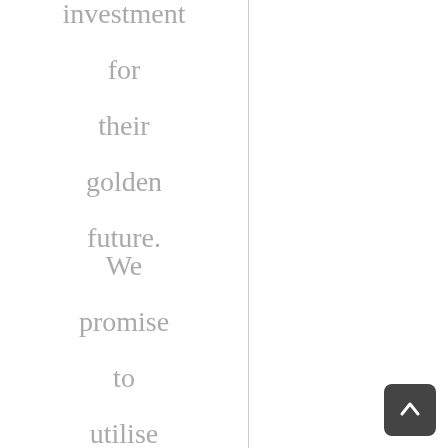investment for their golden future. We promise to utilise each and every minute of the studen's time